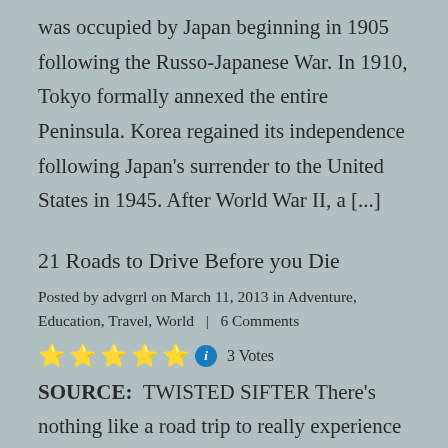was occupied by Japan beginning in 1905 following the Russo-Japanese War. In 1910, Tokyo formally annexed the entire Peninsula. Korea regained its independence following Japan's surrender to the United States in 1945. After World War II, a [...]
21 Roads to Drive Before you Die
Posted by advgrrl on March 11, 2013 in Adventure, Education, Travel, World  |  6 Comments
⭐⭐⭐⭐⭐ ℹ 3 Votes
SOURCE:  TWISTED SIFTER There's nothing like a road trip to really experience a country. From coastal highways and